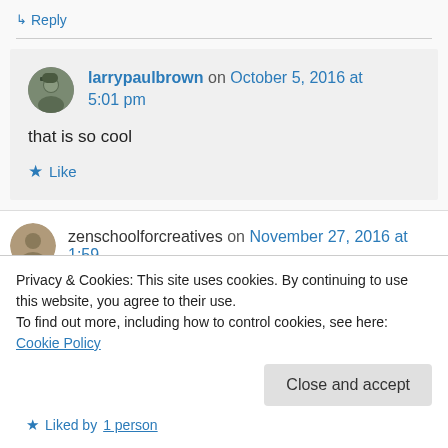↳ Reply
larrypaulbrown on October 5, 2016 at 5:01 pm
that is so cool
Like
zenschoolforcreatives on November 27, 2016 at 1:59
Privacy & Cookies: This site uses cookies. By continuing to use this website, you agree to their use.
To find out more, including how to control cookies, see here: Cookie Policy
Close and accept
Liked by 1 person